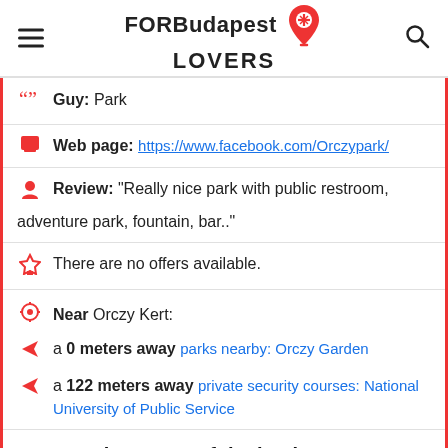FORBudapest LOVERS
Guy: Park
Web page: https://www.facebook.com/Orczypark/
Review: "Really nice park with public restroom, adventure park, fountain, bar.."
There are no offers available.
Near Orczy Kert:
a 0 meters away parks nearby: Orczy Garden
a 122 meters away private security courses: National University of Public Service
Are you the owner of the business? PROMOTE IT!